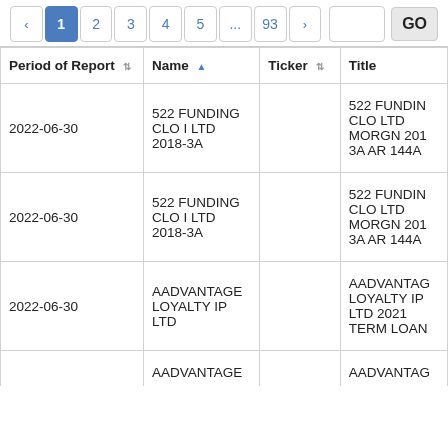| Period of Report | Name | Ticker | Title |
| --- | --- | --- | --- |
| 2022-06-30 | 522 FUNDING CLO I LTD 2018-3A |  | 522 FUNDIN CLO LTD MORGN 201 3A AR 144A |
| 2022-06-30 | 522 FUNDING CLO I LTD 2018-3A |  | 522 FUNDIN CLO LTD MORGN 201 3A AR 144A |
| 2022-06-30 | AADVANTAGE LOYALTY IP LTD |  | AADVANTAG LOYALTY IP LTD 2021 TERM LOAN |
|  | AADVANTAGE... |  | AADVANTAG... |